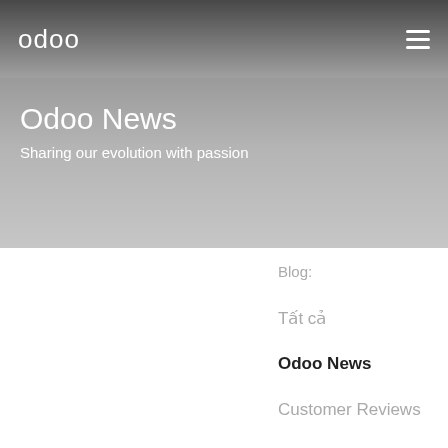odoo
Odoo News
Sharing our evolution with passion
Blog:
Tất cả
Odoo News
Customer Reviews
Partner Stories
Employee Testimonials
Business Hacks